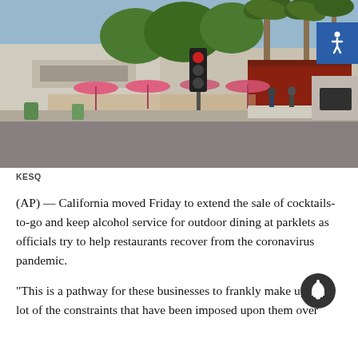[Figure (photo): Street scene showing a restaurant strip with outdoor seating, pink umbrellas, palm trees, a traffic light, and an empty intersection in what appears to be a California city.]
KESQ
(AP) — California moved Friday to extend the sale of cocktails-to-go and keep alcohol service for outdoor dining at parklets as officials try to help restaurants recover from the coronavirus pandemic.
“This is a pathway for these businesses to frankly make up for a lot of the constraints that have been imposed upon them over